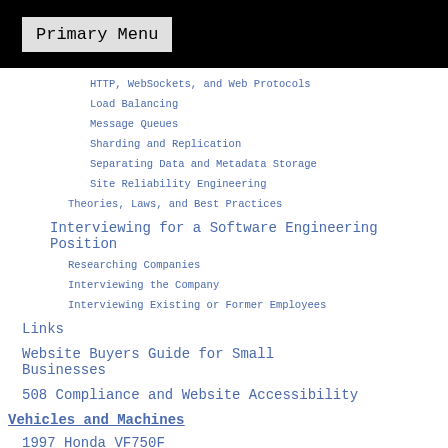Primary Menu
HTTP, WebSockets, and Web Protocols
Load Balancing
Message Queues
Sharding and Replication
Separating Data and Metadata Storage
Site Reliability Engineering
Theories, Laws, and Best Practices
Interviewing for a Software Engineering Position
Researching Companies
Interviewing the Company
Interviewing Existing or Former Employees
Links
Website Buyers Guide for Small Businesses
508 Compliance and Website Accessibility
Vehicles and Machines
1997 Honda VF750F